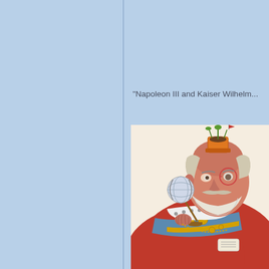"Napoleon III and Kaiser Wilhelm...
[Figure (illustration): A color caricature illustration of a portly older man (likely Kaiser Wilhelm) in ornate royal red and blue robes with gold decorations, holding a small globe on a stand up to his eye like a magnifying glass. He has a white beard, red face, and a small potted plant sits atop his bald head. The background is cream/off-white.]